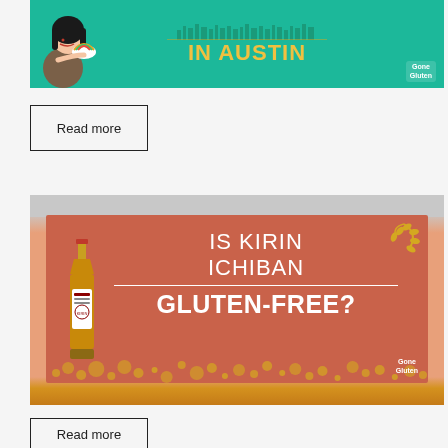[Figure (illustration): Green banner with cartoon girl eating/holding a bowl, city skyline graphic, yellow text 'IN AUSTIN', and Gone Gluten logo]
Read more
[Figure (illustration): Orange/red banner with Kirin Ichiban beer bottle, text 'IS KIRIN ICHIBAN GLUTEN-FREE?', wheat graphic, bubble decorations, and Gone Gluten logo]
Read more